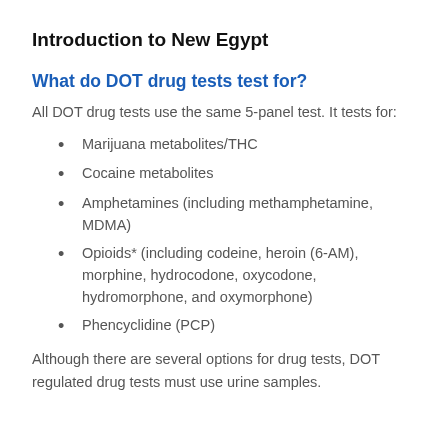Introduction to New Egypt
What do DOT drug tests test for?
All DOT drug tests use the same 5-panel test. It tests for:
Marijuana metabolites/THC
Cocaine metabolites
Amphetamines (including methamphetamine, MDMA)
Opioids* (including codeine, heroin (6-AM), morphine, hydrocodone, oxycodone, hydromorphone, and oxymorphone)
Phencyclidine (PCP)
Although there are several options for drug tests, DOT regulated drug tests must use urine samples.